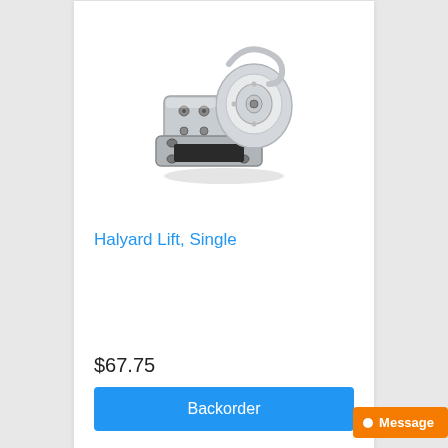[Figure (photo): A stainless steel Halyard Lift Single pulley/block device with mounting plate, shown in a product photo on white background.]
Halyard Lift, Single
$67.75
Backorder
Message